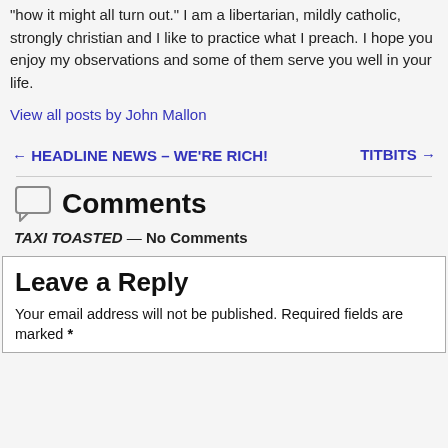"how it might all turn out." I am a libertarian, mildly catholic, strongly christian and I like to practice what I preach. I hope you enjoy my observations and some of them serve you well in your life.
View all posts by John Mallon
← HEADLINE NEWS – WE'RE RICH!
TITBITS →
Comments
TAXI TOASTED — No Comments
Leave a Reply
Your email address will not be published. Required fields are marked *